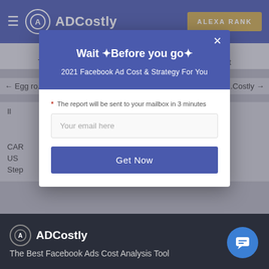≡ ADCostly  ALEXA RANK
SHARE ON
Twitter  Reddit  Tumblr  Email  Buffer  LinkedIn  Pin It
← Egg ro...  ...Costly →
[Figure (screenshot): Modal popup dialog on ADCostly website with blue header reading 'Wait Before you go!' and subtitle '2021 Facebook Ad Cost & Strategy For You', plus email input field and 'Get Now' button]
CAR...ostly
US...tly
Step...ostly
ADCostly
The Best Facebook Ads Cost Analysis Tool